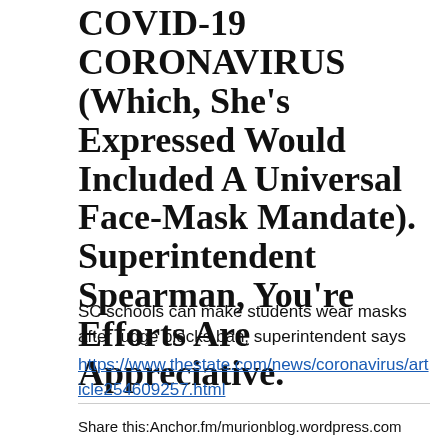COVID-19 CORONAVIRUS (Which, She's Expressed Would Included A Universal Face-Mask Mandate). Superintendent Spearman, You're Efforts Are Appreciative.
SC schools can make students wear masks after judge blocks ban, superintendent says
https://www.thestate.com/news/coronavirus/article254609257.html
Share this:Anchor.fm/murionblog.wordpress.com